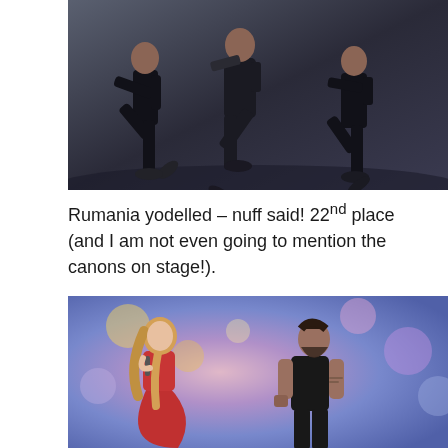[Figure (photo): Three male performers dressed in black on a stage, all doing a high-knee dance move simultaneously. The central performer appears to be singing into a microphone.]
Rumania yodelled – nuff said! 22nd place (and I am not even going to mention the canons on stage!).
[Figure (photo): A young blonde woman in a red dress and a bearded man in black sleeveless top performing on a colorful stage with bokeh lighting in the background.]